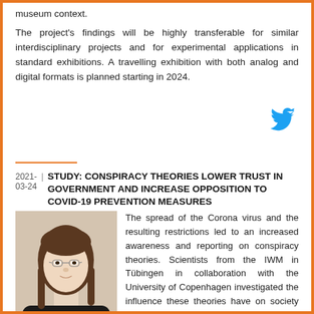museum context.
The project's findings will be highly transferable for similar interdisciplinary projects and for experimental applications in standard exhibitions. A travelling exhibition with both analog and digital formats is planned starting in 2024.
[Figure (logo): Twitter bird icon in blue]
2021-03-24 | STUDY: CONSPIRACY THEORIES LOWER TRUST IN GOVERNMENT AND INCREASE OPPOSITION TO COVID-19 PREVENTION MEASURES
[Figure (photo): Portrait photo of a young woman with glasses and long brown hair, wearing a black top. © Paavo Ruch]
The spread of the Corona virus and the resulting restrictions led to an increased awareness and reporting on conspiracy theories. Scientists from the IWM in Tübingen in collaboration with the University of Copenhagen investigated the influence these theories have on society and the fight against the corona virus.
In this recently published study, the researchers found that even confronting people with conspiracy theories can have negative societal consequences: Trust in state institutions and